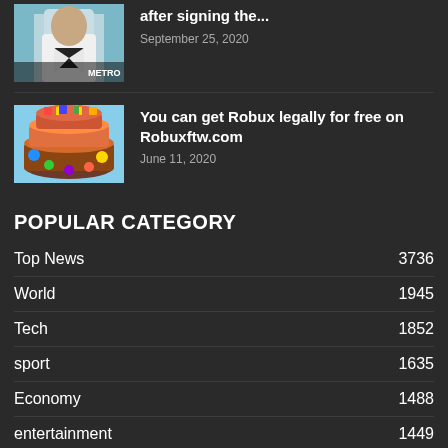[Figure (photo): Man in white suit thumbnail with METRO label]
after signing the...
September 25, 2020
[Figure (photo): Roblox themed cake with colorful decorations]
You can get Robux legally for free on Robuxftw.com
June 11, 2020
POPULAR CATEGORY
Top News 3736
World 1945
Tech 1852
sport 1635
Economy 1488
entertainment 1449
Politics 1433
Reviews 1291